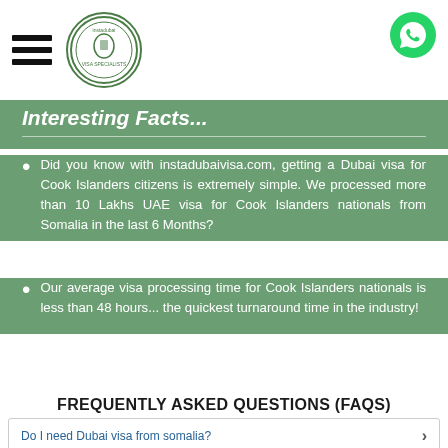instadubaivisa logo and navigation header
Interesting Facts...
Did you know with instadubaivisa.com, getting a Dubai visa for Cook Islanders citizens is extremely simple. We processed more than 10 Lakhs UAE visa for Cook Islanders nationals from Somalia in the last 6 Months?
Our average visa processing time for Cook Islanders nationals is less than 48 hours... the quickest turnaround time in the industry!
FREQUENTLY ASKED QUESTIONS (FAQS)
Do I need Dubai visa from somalia?
How do Cook Islanders can get a Dubai Visa?
What are the Dubai Visa requirements for Cook Islanders?